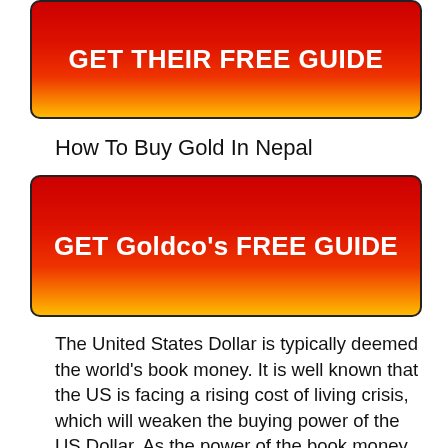[Figure (other): Red to yellow gradient button with white bold text reading GET THEIR FREE GUIDE]
How To Buy Gold In Nepal
[Figure (other): Red to yellow gradient button with white bold text reading GET Goldco's FREE GUIDE]
The United States Dollar is typically deemed the world’s book money. It is well known that the US is facing a rising cost of living crisis, which will weaken the buying power of the US Dollar. As the power of the book money lowers, people not simply in the United States, however all over the world, are likely